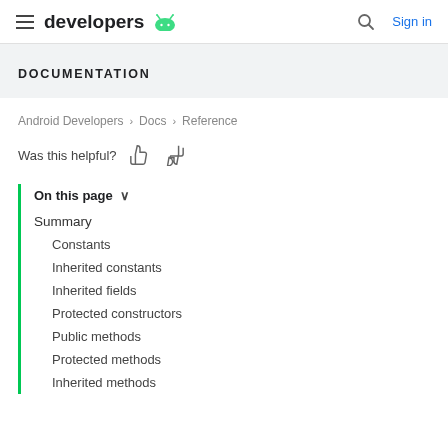developers [android logo] | Search | Sign in
DOCUMENTATION
Android Developers > Docs > Reference
Was this helpful? [thumbs up] [thumbs down]
On this page ∨
Summary
Constants
Inherited constants
Inherited fields
Protected constructors
Public methods
Protected methods
Inherited methods